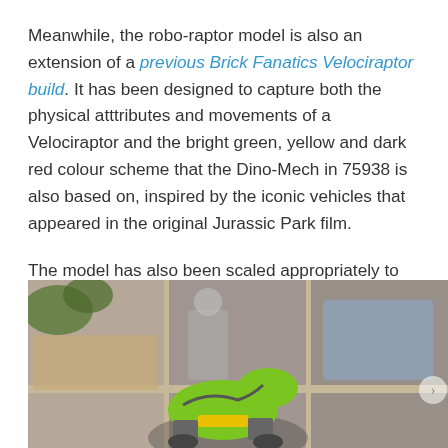Meanwhile, the robo-raptor model is also an extension of a previous Brick Fanatics Velociraptor build. It has been designed to capture both the physical atttributes and movements of a Velociraptor and the bright green, yellow and dark red colour scheme that the Dino-Mech in 75938 is also based on, inspired by the iconic vehicles that appeared in the original Jurassic Park film.
The model has also been scaled appropriately to the Dino-Mech – pair them together to make for a loving, robotic dinosaur family.
[Figure (photo): Photo of a LEGO robotic dinosaur/raptor model displayed on a shelf with other LEGO sets visible in the background. The model features bright green and yellow colors. A navigation arrow is visible on the right side.]